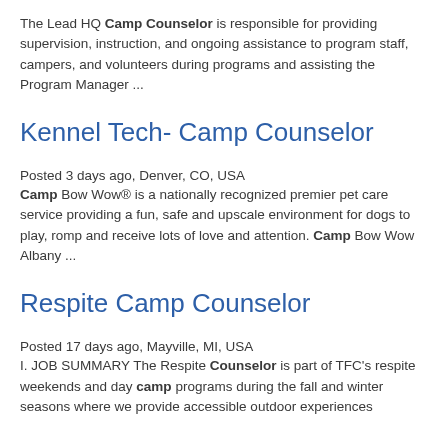The Lead HQ Camp Counselor is responsible for providing supervision, instruction, and ongoing assistance to program staff, campers, and volunteers during programs and assisting the Program Manager ...
Kennel Tech- Camp Counselor
Posted 3 days ago, Denver, CO, USA
Camp Bow Wow® is a nationally recognized premier pet care service providing a fun, safe and upscale environment for dogs to play, romp and receive lots of love and attention. Camp Bow Wow Albany ...
Respite Camp Counselor
Posted 17 days ago, Mayville, MI, USA
I. JOB SUMMARY The Respite Counselor is part of TFC's respite weekends and day camp programs during the fall and winter seasons where we provide accessible outdoor experiences